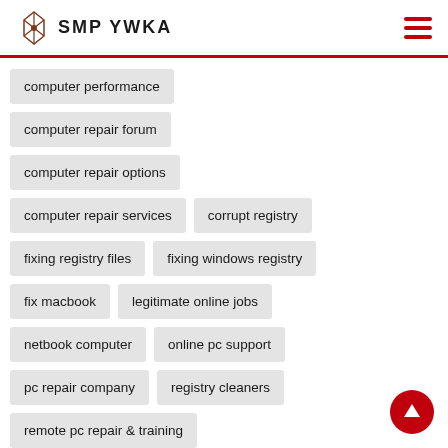SMP YWKA
computer performance
computer repair forum
computer repair options
computer repair services
corrupt registry
fixing registry files
fixing windows registry
fix macbook
legitimate online jobs
netbook computer
online pc support
pc repair company
registry cleaners
remote pc repair & training
remote support software
repair software